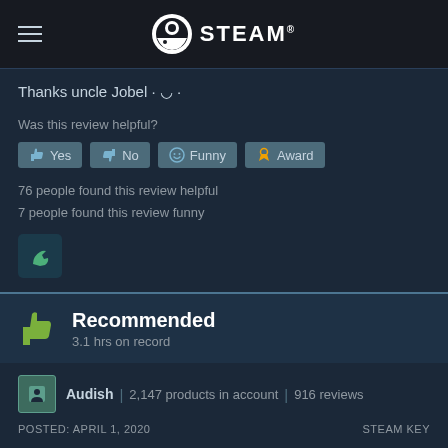STEAM
Thanks uncle Jobel · ◡ ·
Was this review helpful?
Yes  No  Funny  Award
76 people found this review helpful
7 people found this review funny
Recommended
3.1 hrs on record
Audish | 2,147 products in account | 916 reviews
POSTED: APRIL 1, 2020   STEAM KEY
The horror genre is large enough now that it can splinter into